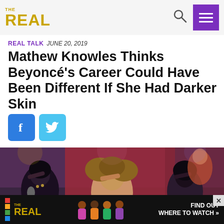THE REAL
REAL TALK  JUNE 20, 2019
Mathew Knowles Thinks Beyoncé's Career Could Have Been Different If She Had Darker Skin
[Figure (photo): Concert performance photo of three female singers including Beyoncé on stage with backup dancers in background, red curtains visible]
[Figure (other): THE REAL show advertisement banner with text FIND OUT WHERE TO WATCH]